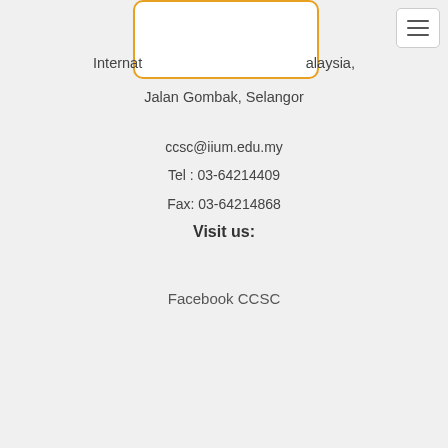[Figure (logo): White card with orange border containing institution logo]
International Islamic University Malaysia, Jalan Gombak, Selangor
ccsc@iium.edu.my
Tel : 03-64214409
Fax: 03-64214868
Visit us:
Facebook CCSC